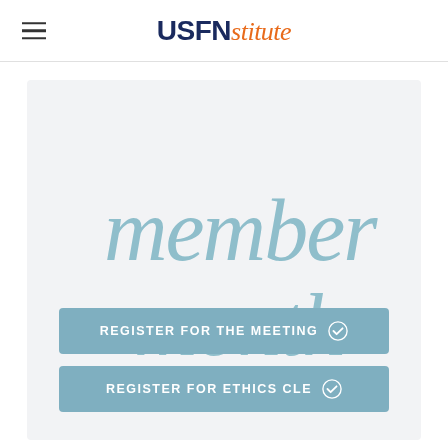USFNstitute
[Figure (logo): USFNstitute logo with USFN in dark navy bold and stitute in orange italic script]
member month
REGISTER FOR THE MEETING
REGISTER FOR ETHICS CLE